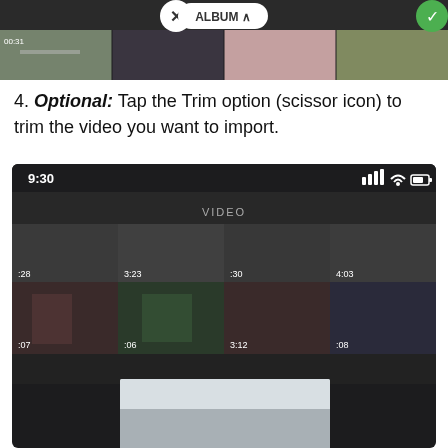[Figure (screenshot): Phone screenshot showing album selection UI with X button, ALBUM^ label, and green checkmark, with four road video thumbnails below]
4. Optional: Tap the Trim option (scissor icon) to trim the video you want to import.
[Figure (screenshot): Phone screenshot showing video gallery grid with status bar (9:30 time, signal, wifi, battery icons), VIDEO label, grid of video thumbnails with timestamps (3:23, 4:03, :07, :06, 3:12, :08), and a preview image at the bottom]